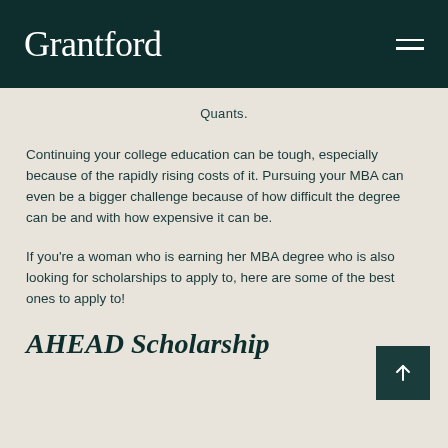Grantford
Quants.
Continuing your college education can be tough, especially because of the rapidly rising costs of it. Pursuing your MBA can even be a bigger challenge because of how difficult the degree can be and with how expensive it can be.
If you're a woman who is earning her MBA degree who is also looking for scholarships to apply to, here are some of the best ones to apply to!
AHEAD Scholarship